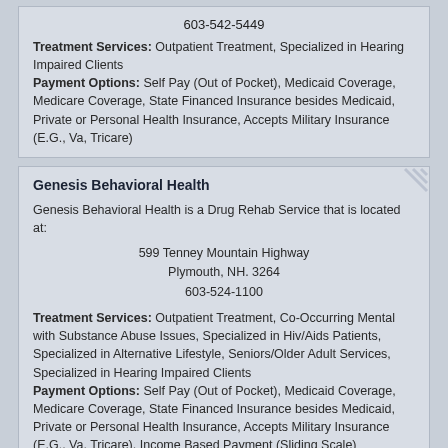603-542-5449
Treatment Services: Outpatient Treatment, Specialized in Hearing Impaired Clients
Payment Options: Self Pay (Out of Pocket), Medicaid Coverage, Medicare Coverage, State Financed Insurance besides Medicaid, Private or Personal Health Insurance, Accepts Military Insurance (E.G., Va, Tricare)
Genesis Behavioral Health
Genesis Behavioral Health is a Drug Rehab Service that is located at:
599 Tenney Mountain Highway
Plymouth, NH. 3264
603-524-1100
Treatment Services: Outpatient Treatment, Co-Occurring Mental with Substance Abuse Issues, Specialized in Hiv/Aids Patients, Specialized in Alternative Lifestyle, Seniors/Older Adult Services, Specialized in Hearing Impaired Clients
Payment Options: Self Pay (Out of Pocket), Medicaid Coverage, Medicare Coverage, State Financed Insurance besides Medicaid, Private or Personal Health Insurance, Accepts Military Insurance (E.G., Va, Tricare), Income Based Payment (Sliding Scale)
Center for Life Management
Center for Life Management is an Addiction Recovery Facilit...